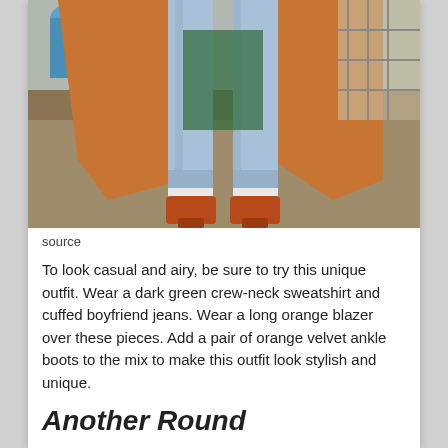[Figure (photo): Fashion photo showing person from waist down wearing cuffed boyfriend jeans, long orange/camel wool blazer coat, and orange velvet ankle boots, standing on a sidewalk/concrete surface.]
source
To look casual and airy, be sure to try this unique outfit. Wear a dark green crew-neck sweatshirt and cuffed boyfriend jeans. Wear a long orange blazer over these pieces. Add a pair of orange velvet ankle boots to the mix to make this outfit look stylish and unique.
Another Round